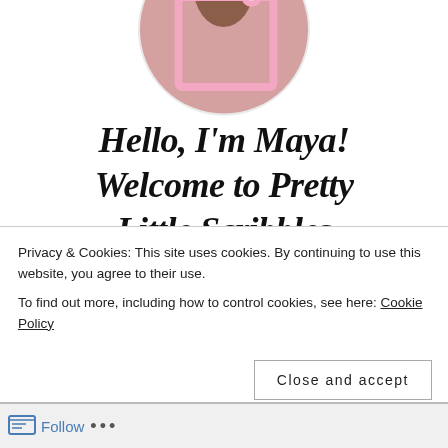[Figure (photo): Circular profile photo of Maya holding a pink frame with floral decorations and greenery]
Hello, I'm Maya! Welcome to Pretty Little Scribbles
grab a cup of tea and settle in - i'd love to get to know you!
Privacy & Cookies: This site uses cookies. By continuing to use this website, you agree to their use.
To find out more, including how to control cookies, see here: Cookie Policy
Close and accept
Follow